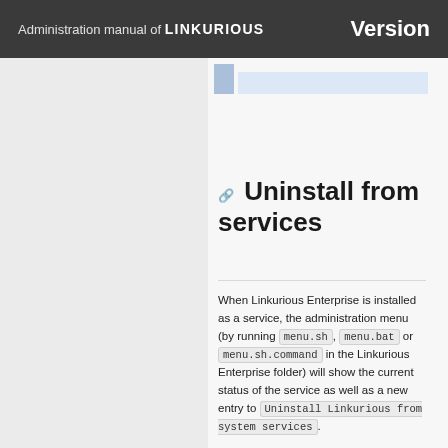Administration manual of LINKURIOUS   Version
Uninstall from services
When Linkurious Enterprise is installed as a service, the administration menu (by running menu.sh, menu.bat or menu.sh.command in the Linkurious Enterprise folder) will show the current status of the service as well as a new entry to Uninstall Linkurious from system services.